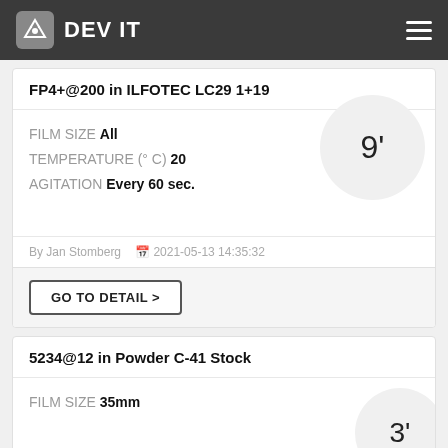DEV IT
FP4+@200 in ILFOTEC LC29 1+19
FILM SIZE All
TEMPERATURE (° C) 20
AGITATION Every 60 sec.
9'
By Jan Stomberg   2021-05-13 14:35:32
GO TO DETAIL >
5234@12 in Powder C-41 Stock
FILM SIZE 35mm
3'